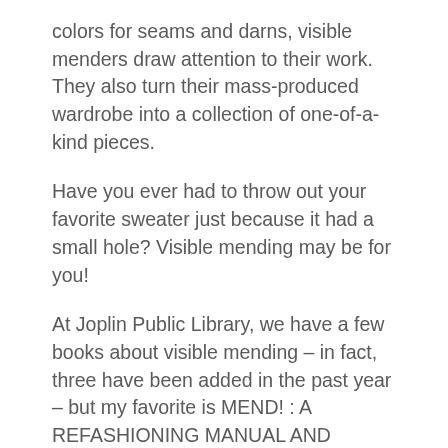colors for seams and darns, visible menders draw attention to their work. They also turn their mass-produced wardrobe into a collection of one-of-a-kind pieces.
Have you ever had to throw out your favorite sweater just because it had a small hole? Visible mending may be for you!
At Joplin Public Library, we have a few books about visible mending – in fact, three have been added in the past year – but my favorite is MEND! : A REFASHIONING MANUAL AND MANIFESTO by KATE SEKULES.
Kate Sekules is a writer, clothes historian, mender, and mending educator; and in Mend! she brings all of these skills to the table. Her book delves into the history of mending worldwide, and into the